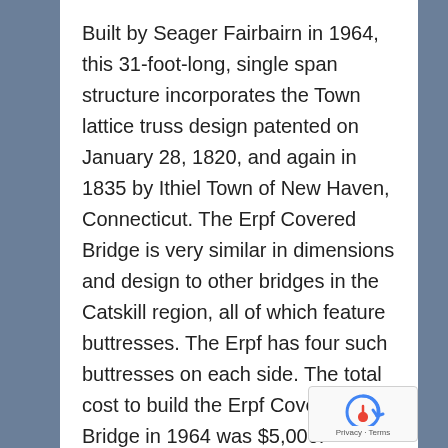Built by Seager Fairbairn in 1964, this 31-foot-long, single span structure incorporates the Town lattice truss design patented on January 28, 1820, and again in 1835 by Ithiel Town of New Haven, Connecticut. The Erpf Covered Bridge is very similar in dimensions and design to other bridges in the Catskill region, all of which feature buttresses. The Erpf has four such buttresses on each side. The total cost to build the Erpf Covered Bridge in 1964 was $5,000.
The Erpf estate had its beginning in the